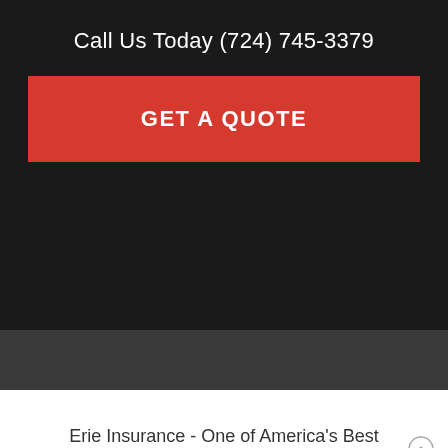Call Us Today (724) 745-3379
[Figure (other): Red GET A QUOTE button]
[Figure (other): Dark gray background section]
Erie Insurance - One of America’s Best Insurance Companies